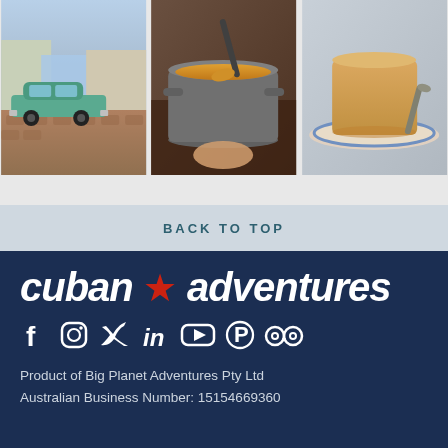[Figure (photo): Three photos in a row: (1) a classic teal Cuban car on cobblestone street with colorful buildings; (2) a pot of soup/stew being stirred on a stovetop; (3) a flan or cake dessert on a decorative plate with a spoon.]
BACK TO TOP
[Figure (logo): Cuban Adventures logo in white bold italic text with a red star between 'cuban' and 'adventures' on a dark navy background]
[Figure (infographic): Social media icons row: Facebook, Instagram, Twitter, LinkedIn, YouTube, Pinterest, TripAdvisor — all white icons on navy background]
Product of Big Planet Adventures Pty Ltd
Australian Business Number: 15154669360